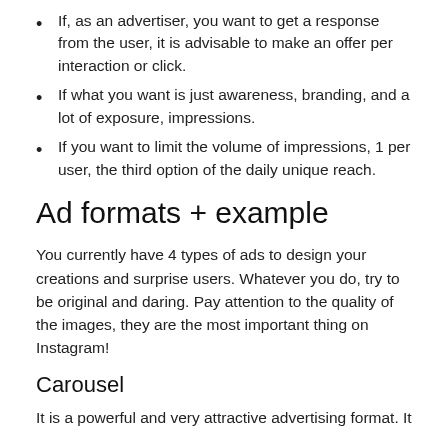If, as an advertiser, you want to get a response from the user, it is advisable to make an offer per interaction or click.
If what you want is just awareness, branding, and a lot of exposure, impressions.
If you want to limit the volume of impressions, 1 per user, the third option of the daily unique reach.
Ad formats + example
You currently have 4 types of ads to design your creations and surprise users. Whatever you do, try to be original and daring. Pay attention to the quality of the images, they are the most important thing on Instagram!
Carousel
It is a powerful and very attractive advertising format. It